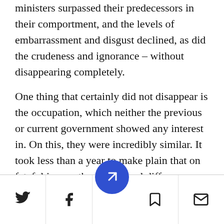ministers surpassed their predecessors in their comportment, and the levels of embarrassment and disgust declined, as did the crudeness and ignorance – without disappearing completely.
One thing that certainly did not disappear is the occupation, which neither the previous or current government showed any interest in. On this, they were incredibly similar. It took less than a year to make plain that on fateful issues, there is no real difference between right, center, and Zionist left.